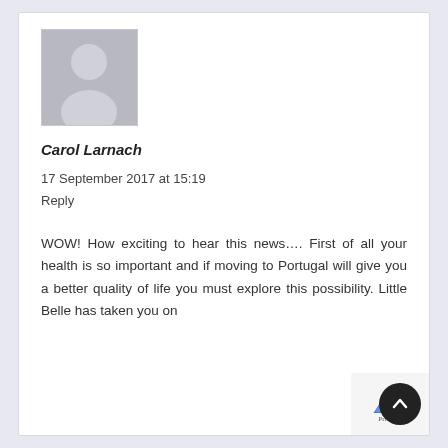[Figure (illustration): Default grey avatar/profile placeholder image showing a silhouette of a person]
Carol Larnach
17 September 2017 at 15:19
Reply
WOW! How exciting to hear this news…. First of all your health is so important and if moving to Portugal will give you a better quality of life you must explore this possibility. Little Belle has taken you on